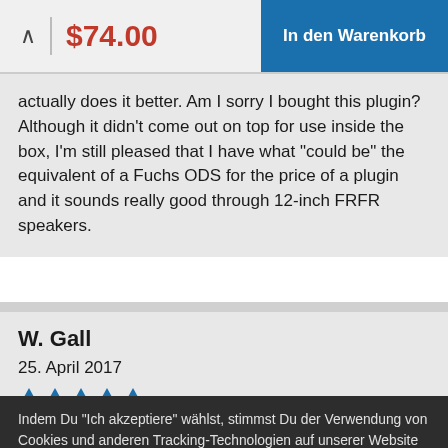$74.00  In den Warenkorb
actually does it better. Am I sorry I bought this plugin? Although it didn't come out on top for use inside the box, I'm still pleased that I have what "could be" the equivalent of a Fuchs ODS for the price of a plugin and it sounds really good through 12-inch FRFR speakers.
W. Gall
25. April 2017
Indem Du "Ich akzeptiere" wählst, stimmst Du der Verwendung von Cookies und anderen Tracking-Technologien auf unserer Website zu. Bitte lies unsere Datenschutzerklärung für Details.
Ich akzeptiere